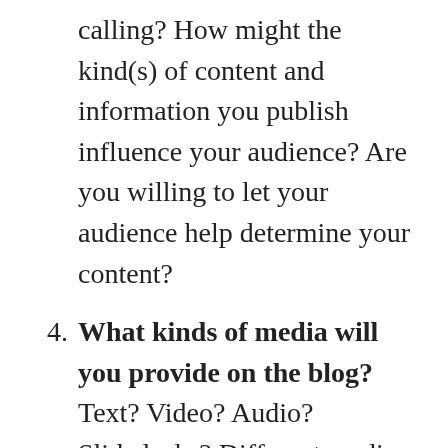calling? How might the kind(s) of content and information you publish influence your audience? Are you willing to let your audience help determine your content?
What kinds of media will you provide on the blog? Text? Video? Audio? Slidedecks? Different media have different properties. Have you thought about the properties of traditional media and how they differ from emerging media? How